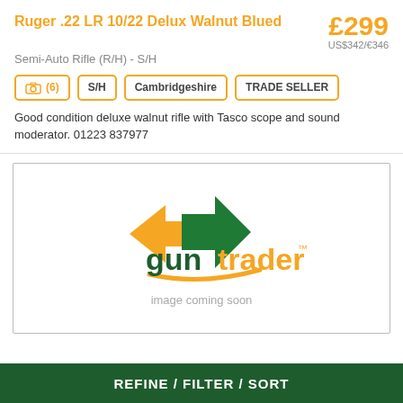Ruger .22 LR 10/22 Delux Walnut Blued
£299
US$342/€346
Semi-Auto Rifle (R/H) - S/H
(6)  S/H  Cambridgeshire  TRADE SELLER
Good condition deluxe walnut rifle with Tasco scope and sound moderator. 01223 837977
[Figure (logo): Guntrader logo with orange and green arrows and text 'guntrader', with 'image coming soon' caption below]
REFINE / FILTER / SORT